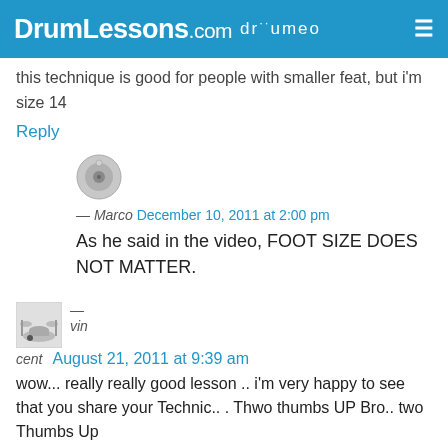DrumLessons.com drumeo
this technique is good for people with smaller feat, but i'm size 14
Reply
[Figure (photo): Small circular avatar showing a drum/cymbal image for user Marco]
— Marco   December 10, 2011 at 2:00 pm
As he said in the video, FOOT SIZE DOES NOT MATTER.
[Figure (photo): Small square avatar showing a drum kit image for user vin cent]
— vin cent   August 21, 2011 at 9:39 am
wow... really really good lesson .. i'm very happy to see that you share your Technic.. . Thwo thumbs UP Bro.. two Thumbs Up